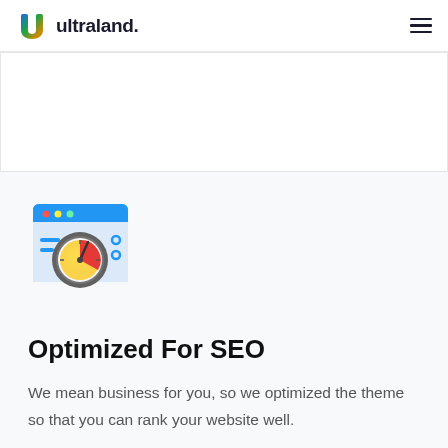ultraland.
[Figure (illustration): Browser/dashboard icon with a speedometer/gauge showing a pie-chart style dial, blue browser window frame with three colored dots, with small UI elements on the side]
Optimized For SEO
We mean business for you, so we optimized the theme so that you can rank your website well.